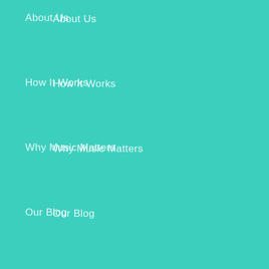About Us
How It Works
Why Music Matters
Our Blog
Terms of Service
Company Info
Shipping & Delivery
Privacy Policy
Refund Policy